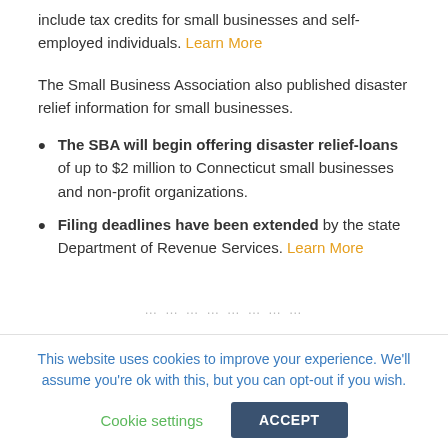include tax credits for small businesses and self-employed individuals. Learn More
The Small Business Association also published disaster relief information for small businesses.
The SBA will begin offering disaster relief-loans of up to $2 million to Connecticut small businesses and non-profit organizations.
Filing deadlines have been extended by the state Department of Revenue Services. Learn More
This website uses cookies to improve your experience. We'll assume you're ok with this, but you can opt-out if you wish.